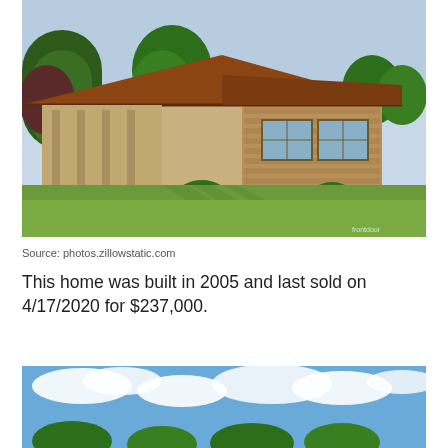[Figure (photo): Exterior photo of a single-story brick ranch-style home with a brown roof, large lawn with trees casting shadows, shrubs along the front, taken in summer. Watermark 'frontdoor' visible in lower right corner.]
Source: photos.zillowstatic.com
This home was built in 2005 and last sold on 4/17/2020 for $237,000.
[Figure (photo): Partial exterior photo of a home showing a blue sky with white clouds and tops of green trees.]